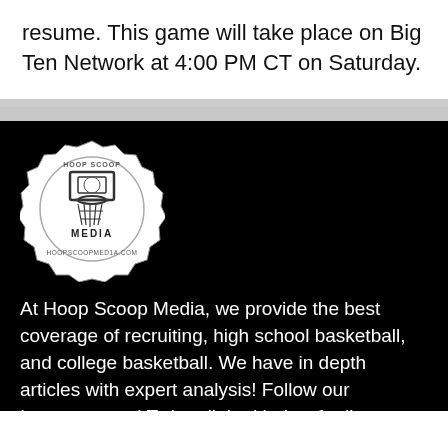resume. This game will take place on Big Ten Network at 4:00 PM CT on Saturday.
[Figure (logo): Hoop Scoop Media logo — badge/seal shape with basketball hoop graphic and text HOOPSCOOPMED1A.COM]
At Hoop Scoop Media, we provide the best coverage of recruiting, high school basketball, and college basketball. We have in depth articles with expert analysis! Follow our Instagram and Twitter linked below for live interviews, breaking news, and more!
Quick Links
Home
Recruiting